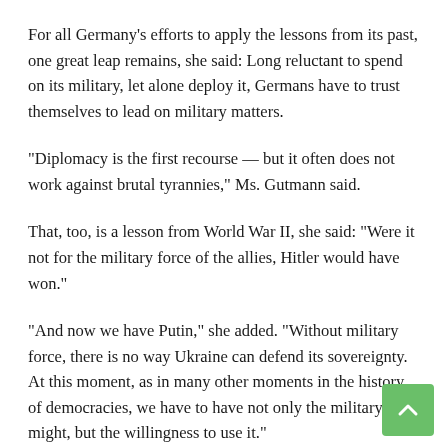For all Germany’s efforts to apply the lessons from its past, one great leap remains, she said: Long reluctant to spend on its military, let alone deploy it, Germans have to trust themselves to lead on military matters.
“Diplomacy is the first recourse — but it often does not work against brutal tyrannies,” Ms. Gutmann said.
That, too, is a lesson from World War II, she said: “Were it not for the military force of the allies, Hitler would have won.”
“And now we have Putin,” she added. “Without military force, there is no way Ukraine can defend its sovereignty. At this moment, as in many other moments in the history of democracies, we have to have not only the military might, but the willingness to use it.”
In Germany, that realization is still sinking in. The government has committed to a 100-billion euro rearmament program in what Chancellor Olaf Scholz dubbed a “Zeitenwende” — or historic turning point — but Berlin has been criticized for dragging its feet on